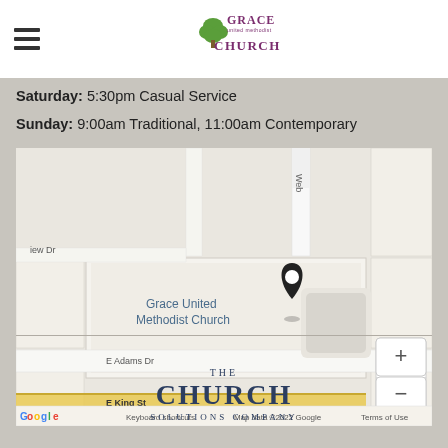Grace United Methodist Church - header with hamburger menu and logo
Saturday: 5:30pm Casual Service
Sunday: 9:00am Traditional, 11:00am Contemporary
[Figure (map): Google Maps screenshot showing Grace United Methodist Church location with a map pin, street labels including E Adams Dr, View Dr, E King St, Web[er] street, zoom controls (+/-), Google logo, and footer text: Keyboard shortcuts | Map data ©2022 Google | Terms of Use]
[Figure (logo): The Church Solutions Company logo with stylized text]